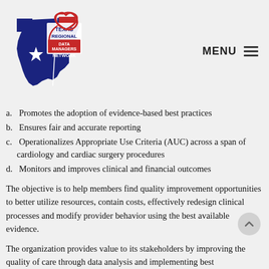[Figure (logo): Texas Regional Data Managers Network logo: Texas state shape in blue and red with a white star, overlaid with a red heart outline and stethoscope, with text 'TEXAS REGIONAL DATA MANAGERS NETWORK' in white and red.]
a. Promotes the adoption of evidence-based best practices
b. Ensures fair and accurate reporting
c. Operationalizes Appropriate Use Criteria (AUC) across a span of cardiology and cardiac surgery procedures
d. Monitors and improves clinical and financial outcomes
The objective is to help members find quality improvement opportunities to better utilize resources, contain costs, effectively redesign clinical processes and modify provider behavior using the best available evidence.
The organization provides value to its stakeholders by improving the quality of care through data analysis and implementing best